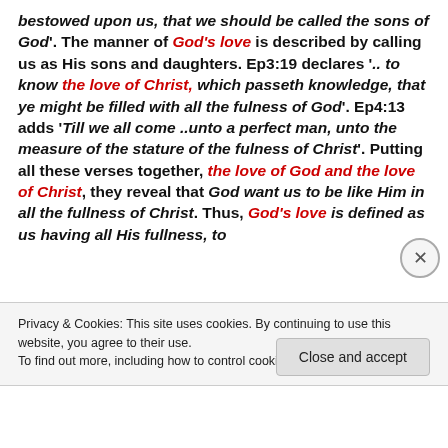bestowed upon us, that we should be called the sons of God'. The manner of God's love is described by calling us as His sons and daughters. Ep3:19 declares '.. to know the love of Christ, which passeth knowledge, that ye might be filled with all the fulness of God'. Ep4:13 adds 'Till we all come ..unto a perfect man, unto the measure of the stature of the fulness of Christ'. Putting all these verses together, the love of God and the love of Christ, they reveal that God want us to be like Him in all the fullness of Christ. Thus, God's love is defined as us having all His fullness, to
Privacy & Cookies: This site uses cookies. By continuing to use this website, you agree to their use.
To find out more, including how to control cookies, see here: Cookie Policy